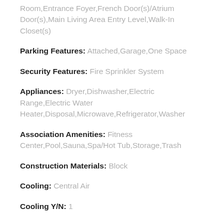Room,Entrance Foyer,French Door(s)/Atrium Door(s),Main Living Area Entry Level,Walk-In Closet(s)
Parking Features: Attached,Garage,One Space
Security Features: Fire Sprinkler System
Appliances: Dryer,Dishwasher,Electric Range,Electric Water Heater,Disposal,Microwave,Refrigerator,Washer
Association Amenities: Fitness Center,Pool,Sauna,Spa/Hot Tub,Storage,Trash
Construction Materials: Block
Cooling: Central Air
Cooling Y/N: 1